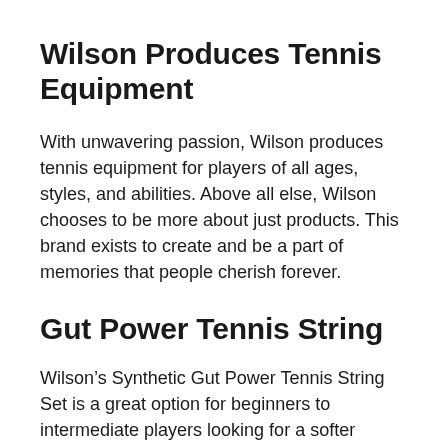Wilson Produces Tennis Equipment
With unwavering passion, Wilson produces tennis equipment for players of all ages, styles, and abilities. Above all else, Wilson chooses to be more about just products. This brand exists to create and be a part of memories that people cherish forever.
Gut Power Tennis String
Wilson’s Synthetic Gut Power Tennis String Set is a great option for beginners to intermediate players looking for a softer stringbed with a good ball bite. These strings